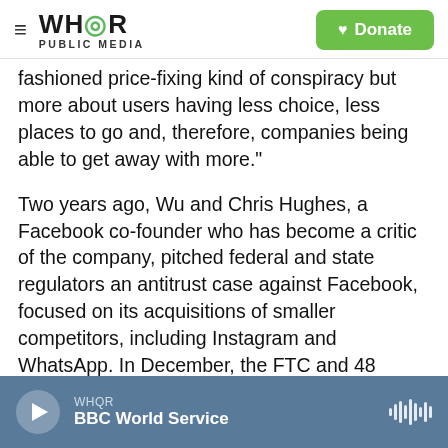WHQR PUBLIC MEDIA — Donate
fashioned price-fixing kind of conspiracy but more about users having less choice, less places to go and, therefore, companies being able to get away with more."
Two years ago, Wu and Chris Hughes, a Facebook co-founder who has become a critic of the company, pitched federal and state regulators an antitrust case against Facebook, focused on its acquisitions of smaller competitors, including Instagram and WhatsApp. In December, the FTC and 48 attorneys general sued the social network, accusing it of illegally crushing competition.
WHQR
BBC World Service